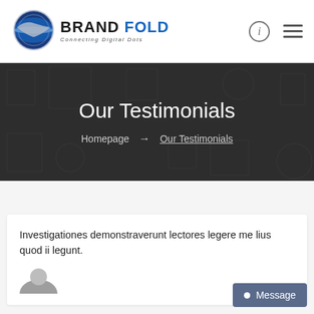[Figure (logo): Brand Fold logo — globe with shield graphic and text 'BRAND FOLD Connecting Digital Dots']
Our Testimonials
Homepage → Our Testimonials
Investigationes demonstraverunt lectores legere me lius quod ii legunt.
[Figure (photo): Avatar/profile photo placeholder at bottom left of testimonial card]
Message